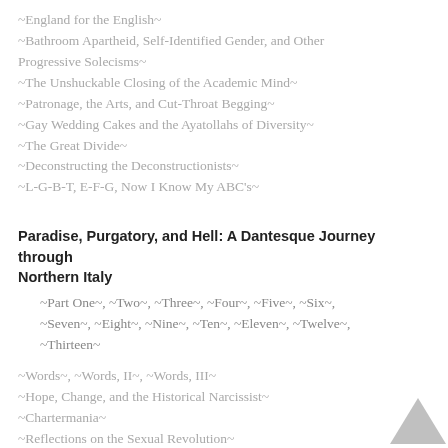~England for the English~
~Bathroom Apartheid, Self-Identified Gender, and Other Progressive Solecisms~
~The Unshuckable Closing of the Academic Mind~
~Patronage, the Arts, and Cut-Throat Begging~
~Gay Wedding Cakes and the Ayatollahs of Diversity~
~The Great Divide~
~Deconstructing the Deconstructionists~
~L-G-B-T, E-F-G, Now I Know My ABC's~
Paradise, Purgatory, and Hell: A Dantesque Journey through Northern Italy
~Part One~, ~Two~, ~Three~, ~Four~, ~Five~, ~Six~, ~Seven~, ~Eight~, ~Nine~, ~Ten~, ~Eleven~, ~Twelve~, ~Thirteen~
~Words~, ~Words, II~, ~Words, III~
~Hope, Change, and the Historical Narcissist~
~Chartermania~
~Reflections on the Sexual Revolution~
~Free Love~